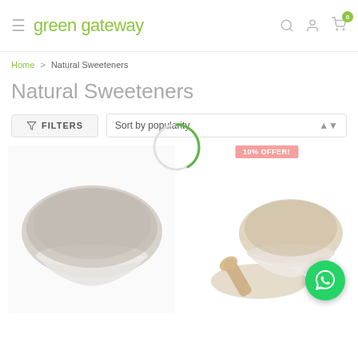green gateway
Home > Natural Sweeteners
Natural Sweeteners
FILTERS | Sort by popularity
[Figure (screenshot): Loading spinner circle partially drawn in green]
[Figure (photo): Two product images: left - a bowl of grey/white granulated natural sweetener; right - a bowl of beige/brown powdered natural sweetener with a wooden scoop, 10% OFFER badge above, WhatsApp contact button overlay on right side]